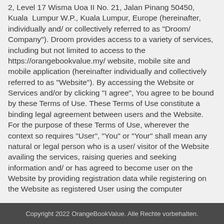2, Level 17 Wisma Uoa II No. 21, Jalan Pinang 50450, Kuala Lumpur W.P., Kuala Lumpur, Europe (hereinafter, individually and/ or collectively referred to as "Droom/ Company"). Droom provides access to a variety of services, including but not limited to access to the https://orangebookvalue.my/ website, mobile site and mobile application (hereinafter individually and collectively referred to as "Website"). By accessing the Website or Services and/or by clicking "I agree", You agree to be bound by these Terms of Use. These Terms of Use constitute a binding legal agreement between users and the Website. For the purpose of these Terms of Use, wherever the context so requires "User", "You" or "Your" shall mean any natural or legal person who is a user/ visitor of the Website availing the services, raising queries and seeking information and/ or has agreed to become user on the Website by providing registration data while registering on the Website as registered User using the computer
Copyright 2022 OrangeBookValue. Alle Rechte vorbehalten.